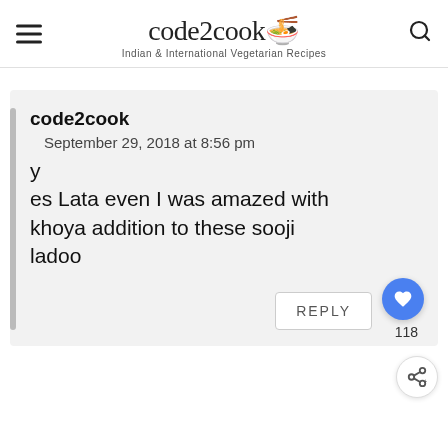code2cook — Indian & International Vegetarian Recipes
code2cook
September 29, 2018 at 8:56 pm
yes Lata even I was amazed with khoya addition to these sooji ladoo